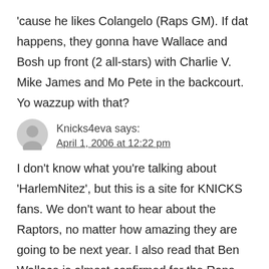'cause he likes Colangelo (Raps GM). If dat happens, they gonna have Wallace and Bosh up front (2 all-stars) with Charlie V. Mike James and Mo Pete in the backcourt. Yo wazzup with that?
Knicks4eva says: April 1, 2006 at 12:22 pm
I don't know what you're talking about 'HarlemNitez', but this is a site for KNICKS fans. We don't want to hear about the Raptors, no matter how amazing they are going to be next year. I also read that Ben Wallace is almost confirmed for the Raps,